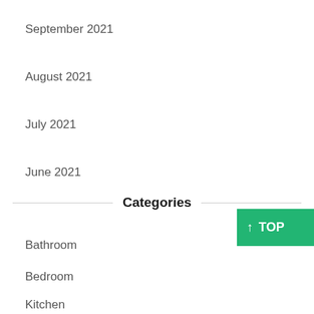September 2021
August 2021
July 2021
June 2021
Categories
Bathroom
Bedroom
Kitchen